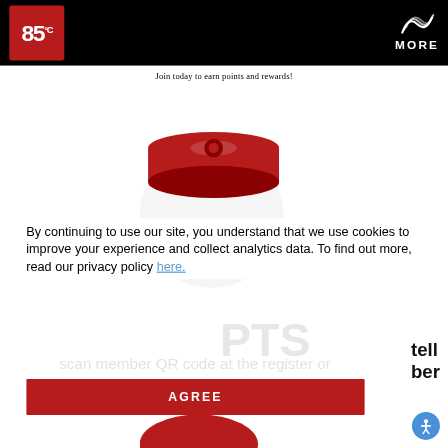[Figure (logo): 85°C Bakery Cafe logo — dark red square with white bold text '85°C' — on black header bar]
[Figure (logo): MORE loyalty program logo with wave/swoosh icon and 'MORE' text in white on black header bar]
Join today to earn points and rewards!
[Figure (illustration): Red coin/token icon with circular design, partially behind cookie consent overlay; faint gray circle watermark behind it]
By continuing to use our site, you understand that we use cookies to improve your experience and collect analytics data. To find out more, read our privacy policy here.
[Figure (other): Red AGREE button for cookie consent]
tell
ber
[Figure (illustration): Blue circular accessibility icon with person symbol in bottom right corner]